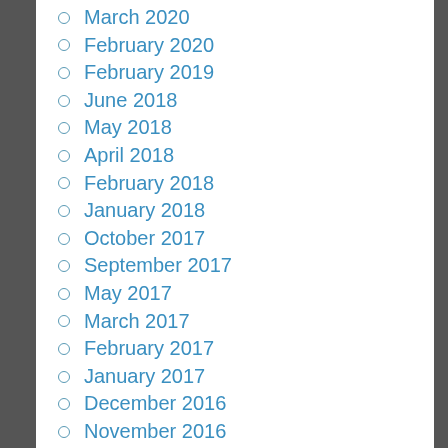March 2020
February 2020
February 2019
June 2018
May 2018
April 2018
February 2018
January 2018
October 2017
September 2017
May 2017
March 2017
February 2017
January 2017
December 2016
November 2016
October 2016
March 2016
August 2015
July 2015